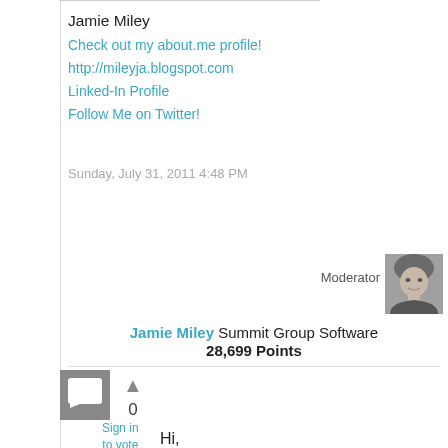Jamie Miley
Check out my about.me profile!
http://mileyja.blogspot.com
Linked-In Profile
Follow Me on Twitter!
Sunday, July 31, 2011 4:48 PM
Moderator
[Figure (photo): Profile photo of Jamie Miley, moderator]
Jamie Miley Summit Group Software 28,699 Points
[Figure (other): Comment/reply icon — grey square with speech bubble]
▲
0
Sign in to vote
Hi,